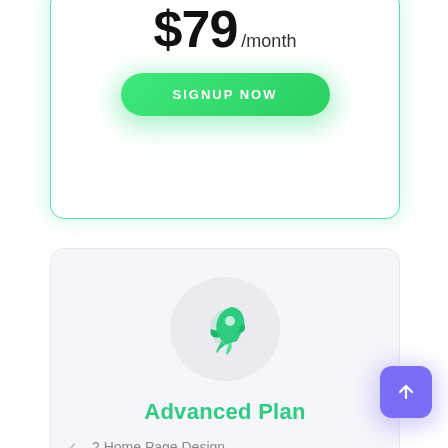$79 /month
SIGNUP NOW
[Figure (illustration): Rocket ship icon inside a light gray circle]
Advanced Plan
2 Home Page Design
19 Inner Pages Design